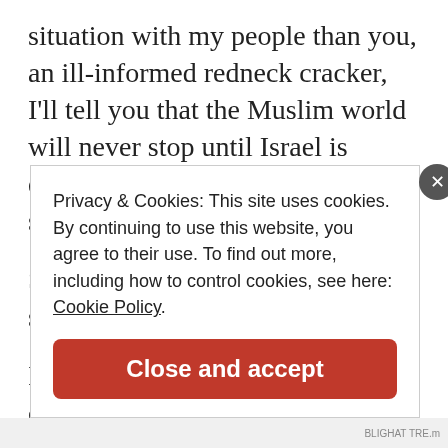situation with my people than you, an ill-informed redneck cracker, I'll tell you that the Muslim world will never stop until Israel is destroyed and all those that support her are destroyed.
So get that through your thick stupid inbred head.
I have answered questions before on my own blog and on other blogs, so I don't know where
Privacy & Cookies: This site uses cookies. By continuing to use this website, you agree to their use. To find out more, including how to control cookies, see here: Cookie Policy
Close and accept